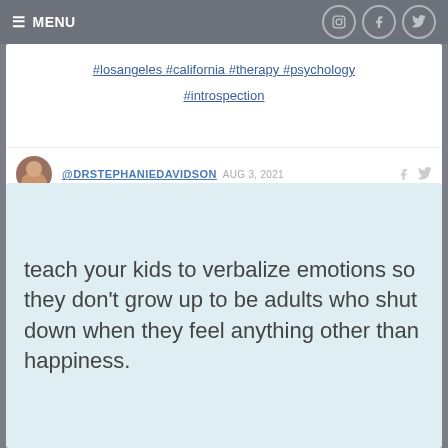≡ MENU
#losangeles #california #therapy #psychology #introspection
@DRSTEPHANIEDAVIDSON AUG 3, 2021
teach your kids to verbalize emotions so they don't grow up to be adults who shut down when they feel anything other than happiness.